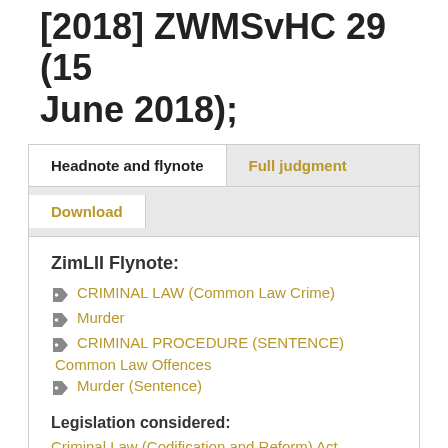[2018] ZWMSvHC 29 (15 June 2018);
Headnote and flynote | Full judgment | Download
ZimLII Flynote:
CRIMINAL LAW (Common Law Crime)
Murder
CRIMINAL PROCEDURE (SENTENCE) Common Law Offences
Murder (Sentence)
Legislation considered:
Criminal Law (Codification and Reform) Act [Chapter 9:23]